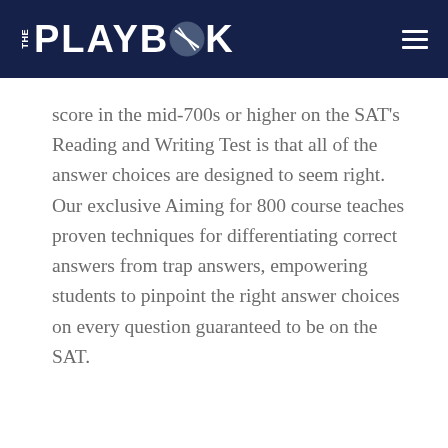THE PLAYBOOK
score in the mid-700s or higher on the SAT's Reading and Writing Test is that all of the answer choices are designed to seem right. Our exclusive Aiming for 800 course teaches proven techniques for differentiating correct answers from trap answers, empowering students to pinpoint the right answer choices on every question guaranteed to be on the SAT.